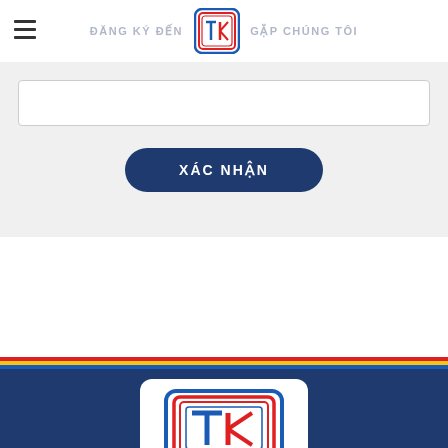ĐĂNG KÝ ĐẾN GẶP CHÚNG TÔI
[Figure (logo): Thuanduc Jsc., company logo - blue rounded rectangle border with red inner rectangle and stylized T and K letters in red and blue]
XÁC NHẬN
[Figure (logo): Thuanduc Jsc., company logo large version on dark navy background - white card with blue rounded border, red inner rectangle, stylized letters, text Thuanduc Jsc., in blue italic bold]